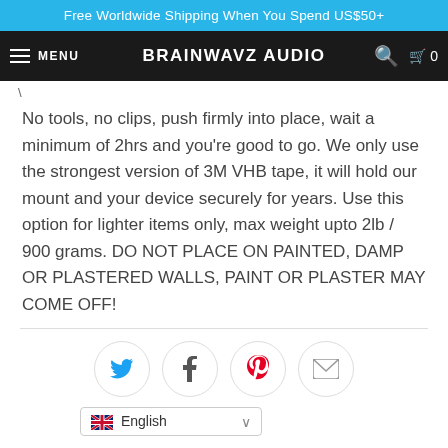Free Worldwide Shipping When You Spend US$50+
MENU  BRAINWAVZ AUDIO  0
No tools, no clips, push firmly into place, wait a minimum of 2hrs and you're good to go. We only use the strongest version of 3M VHB tape, it will hold our mount and your device securely for years. Use this option for lighter items only, max weight upto 2lb / 900 grams. DO NOT PLACE ON PAINTED, DAMP OR PLASTERED WALLS, PAINT OR PLASTER MAY COME OFF!
[Figure (infographic): Social sharing icons: Twitter (blue bird), Facebook (f), Pinterest (red p), Email (envelope) — each inside a light circle border]
English